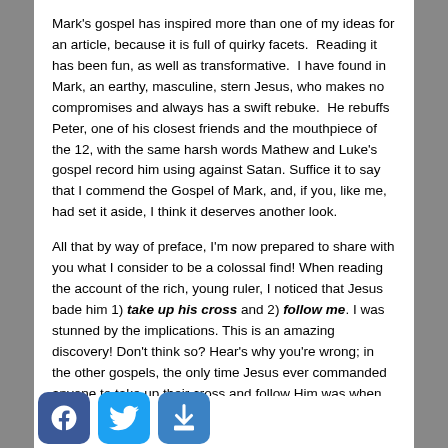Mark's gospel has inspired more than one of my ideas for an article, because it is full of quirky facets. Reading it has been fun, as well as transformative. I have found in Mark, an earthy, masculine, stern Jesus, who makes no compromises and always has a swift rebuke. He rebuffs Peter, one of his closest friends and the mouthpiece of the 12, with the same harsh words Mathew and Luke's gospel record him using against Satan. Suffice it to say that I commend the Gospel of Mark, and, if you, like me, had set it aside, I think it deserves another look.
All that by way of preface, I'm now prepared to share with you what I consider to be a colossal find! When reading the account of the rich, young ruler, I noticed that Jesus bade him 1) take up his cross and 2) follow me. I was stunned by the implications. This is an amazing discovery! Don't think so? Hear's why you're wrong; in the other gospels, the only time Jesus ever commanded anyone to take up their cross and follow Him was when He was [calling] one of his 12 Disciples! Ka-boom!